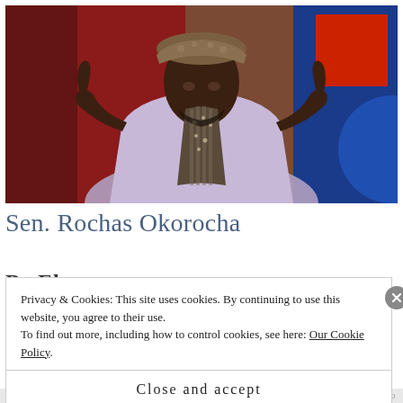[Figure (photo): Sen. Rochas Okorocha gesturing with both hands pointing, wearing a light purple traditional outfit and leopard-print cap, with red and blue background]
Sen. Rochas Okorocha
By El...
Privacy & Cookies: This site uses cookies. By continuing to use this website, you agree to their use.
To find out more, including how to control cookies, see here: Our Cookie Policy.
Close and accept